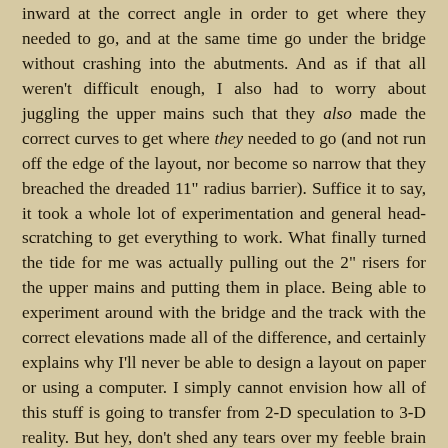inward at the correct angle in order to get where they needed to go, and at the same time go under the bridge without crashing into the abutments. And as if that all weren't difficult enough, I also had to worry about juggling the upper mains such that they also made the correct curves to get where they needed to go (and not run off the edge of the layout, nor become so narrow that they breached the dreaded 11" radius barrier). Suffice it to say, it took a whole lot of experimentation and general head-scratching to get everything to work. What finally turned the tide for me was actually pulling out the 2" risers for the upper mains and putting them in place. Being able to experiment around with the bridge and the track with the correct elevations made all of the difference, and certainly explains why I'll never be able to design a layout on paper or using a computer. I simply cannot envision how all of this stuff is going to transfer from 2-D speculation to 3-D reality. But hey, don't shed any tears over my feeble brain - I actually quite enjoy this whole process of "layout design by physical experimentation".

Once I'd figured out that mocking up the risers right along